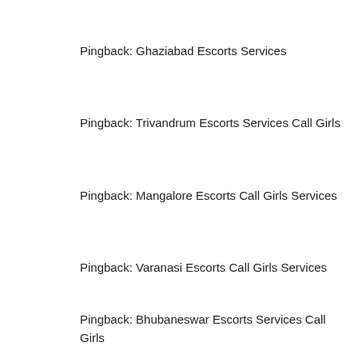Pingback: Ghaziabad Escorts Services
Pingback: Trivandrum Escorts Services Call Girls
Pingback: Mangalore Escorts Call Girls Services
Pingback: Varanasi Escorts Call Girls Services
Pingback: Bhubaneswar Escorts Services Call Girls